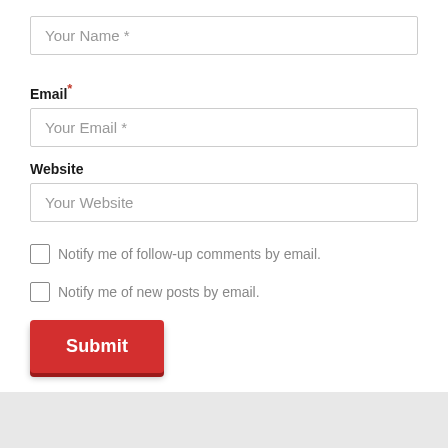Your Name *
Email *
Your Email *
Website
Your Website
Notify me of follow-up comments by email.
Notify me of new posts by email.
Submit